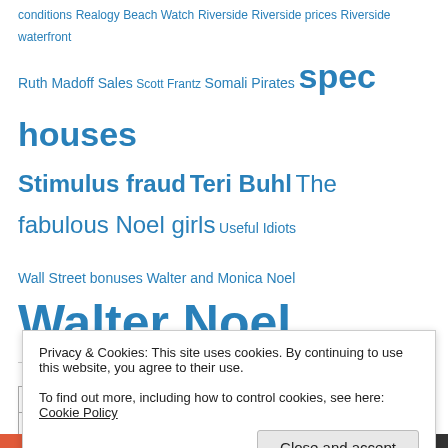conditions Realogy Beach Watch Riverside Riverside prices Riverside waterfront Ruth Madoff Sales Scott Frantz Somali Pirates spec houses Stimulus fraud Teri Buhl The fabulous Noel girls Useful Idiots Wall Street bonuses Walter and Monica Noel Walter Noel
| M | T | W | T | F | S | S |
| --- | --- | --- | --- | --- | --- | --- |
|  |  | 1 | 2 | 3 | 4 | 5 |
| 6 | 7 | 8 | 9 | 10 | 11 | 12 |
| 13 | 14 | 15 | 16 | 17 | 18 | 19 |
Privacy & Cookies: This site uses cookies. By continuing to use this website, you agree to their use. To find out more, including how to control cookies, see here: Cookie Policy
Advertisements